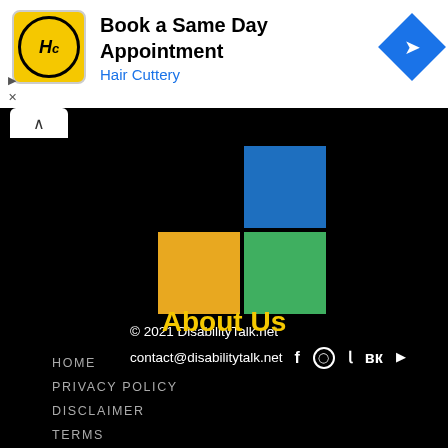[Figure (illustration): Hair Cuttery advertisement banner with logo, 'Book a Same Day Appointment' heading, and navigation icon]
© 2021 DisabilityTalk.net
contact@disabilitytalk.net
[Figure (logo): Microsoft-style 2x2 colored grid logo (blue, orange, green squares) on black background]
About Us
HOME
PRIVACY POLICY
DISCLAIMER
TERMS